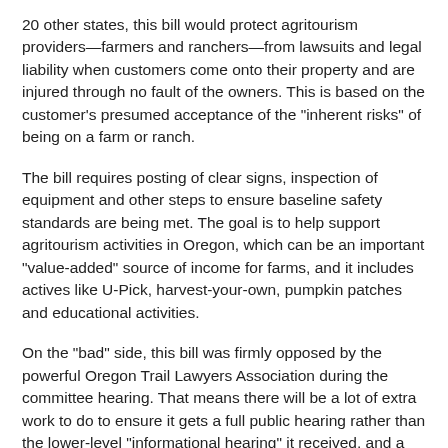20 other states, this bill would protect agritourism providers—farmers and ranchers—from lawsuits and legal liability when customers come onto their property and are injured through no fault of the owners. This is based on the customer's presumed acceptance of the "inherent risks" of being on a farm or ranch.
The bill requires posting of clear signs, inspection of equipment and other steps to ensure baseline safety standards are being met. The goal is to help support agritourism activities in Oregon, which can be an important "value-added" source of income for farms, and it includes actives like U-Pick, harvest-your-own, pumpkin patches and educational activities.
On the "bad" side, this bill was firmly opposed by the powerful Oregon Trail Lawyers Association during the committee hearing. That means there will be a lot of extra work to do to ensure it gets a full public hearing rather than the lower-level "informational hearing" it received, and a committee vote.